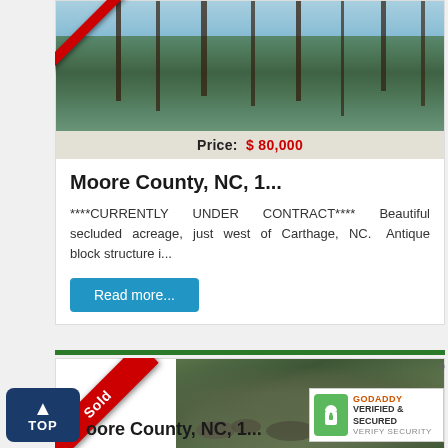[Figure (photo): Forest/woodland scene with tall pine trees]
Price:  $ 80,000
Moore County, NC, 1...
****CURRENTLY UNDER CONTRACT**** Beautiful secluded acreage, just west of Carthage, NC. Antique block structure i...
Read more...
[Figure (photo): Rocky creek/stream with mossy rocks in woodland setting]
Price:  $ 80,000
Moore County, NC, 1...